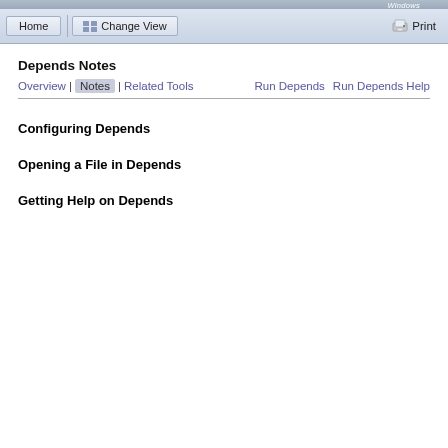Windows
Depends Notes
Overview | Notes | Related Tools    Run Depends  Run Depends Help
Configuring Depends
Opening a File in Depends
Getting Help on Depends